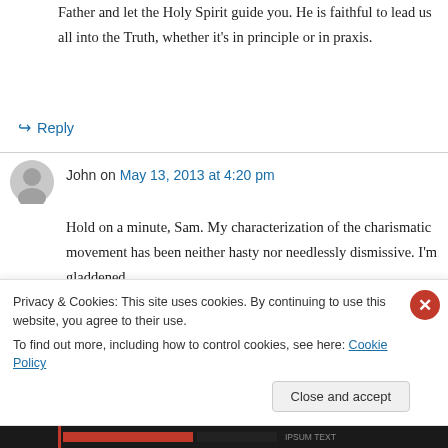Father and let the Holy Spirit guide you. He is faithful to lead us all into the Truth, whether it's in principle or in praxis.
↳ Reply
John on May 13, 2013 at 4:20 pm
Hold on a minute, Sam. My characterization of the charismatic movement has been neither hasty nor needlessly dismissive. I'm gladdened
Privacy & Cookies: This site uses cookies. By continuing to use this website, you agree to their use.
To find out more, including how to control cookies, see here: Cookie Policy
Close and accept